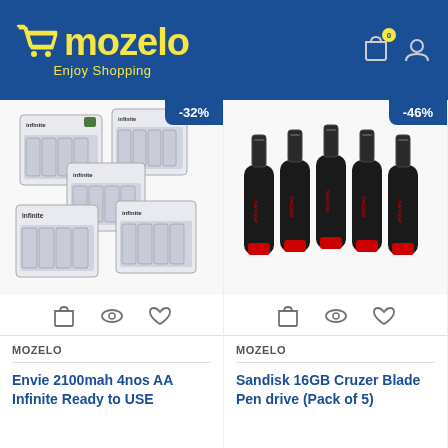[Figure (logo): Mozelo e-commerce logo with shopping cart icon in yellow, text 'mozelo' in yellow, tagline 'Enjoy Shopping' in yellow, on blue background. Shopping bag icon with '0' badge and user profile icon in top right.]
[Figure (photo): Envie 2100mah 4nos AA Infinite Ready to Use rechargeable battery packs, 4 packs shown in a 2x2 grid. Discount badge -32%.]
[Figure (photo): Sandisk 16GB Cruzer Blade Pen drive Pack of 5, five black and red USB drives shown. Discount badge -46%.]
MOZELO
Envie 2100mah 4nos AA Infinite Ready to USE
MOZELO
Sandisk 16GB Cruzer Blade Pen drive (Pack of 5)